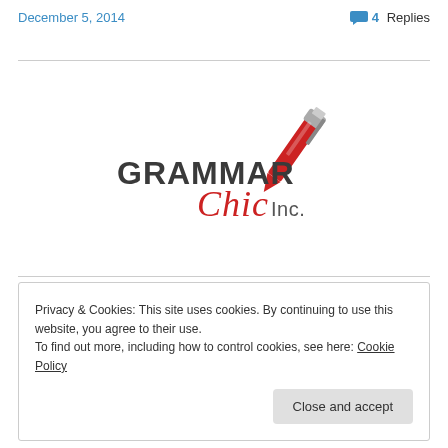December 5, 2014
4 Replies
[Figure (logo): Grammar Chic Inc. logo with red pen icon, 'GRAMMAR' in dark gray bold capital letters, 'Chic' in red script font, 'Inc.' in gray]
Privacy & Cookies: This site uses cookies. By continuing to use this website, you agree to their use.
To find out more, including how to control cookies, see here: Cookie Policy
Close and accept